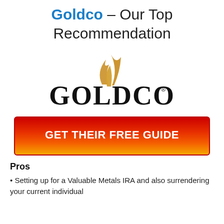Goldco – Our Top Recommendation
[Figure (logo): Goldco logo with golden flame above stylized GOLDCO text]
GET THEIR FREE GUIDE
Pros
Setting up for a Valuable Metals IRA and also surrendering your current individual